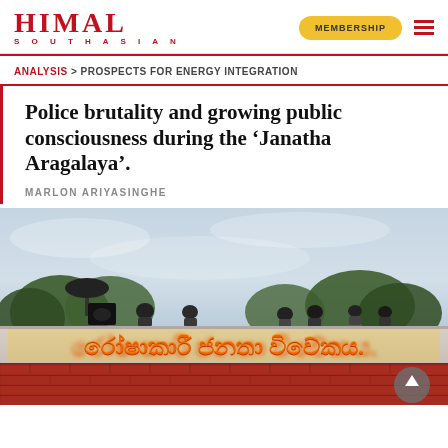HIMAL SOUTHASIAN — MEMBERSHIP
ANALYSIS > PROSPECTS FOR ENERGY INTEGRATION
Police brutality and growing public consciousness during the 'Janatha Aragalaya'.
MARLON ARIYASINGHE
[Figure (photo): Protesters sitting on top of a white wall with Sinhala-language graffiti in red, orange, and yellow text, with trees and cloudy sky in the background. Red brick fence below the wall.]